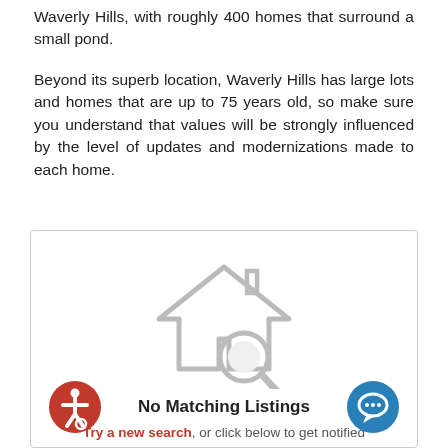Waverly Hills, with roughly 400 homes that surround a small pond.
Beyond its superb location, Waverly Hills has large lots and homes that are up to 75 years old, so make sure you understand that values will be strongly influenced by the level of updates and modernizations made to each home.
[Figure (illustration): House with magnifying glass icon indicating no search results found]
No Matching Listings
Try a new search, or click below to get notified when matching listings become available.